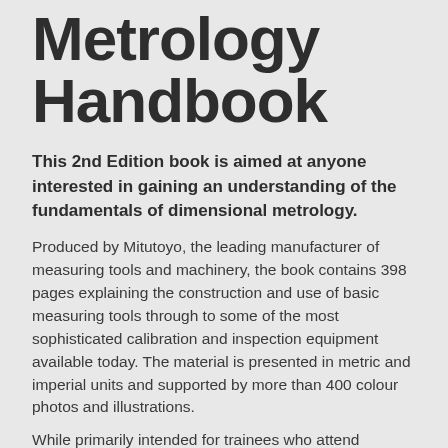Metrology Handbook
This 2nd Edition book is aimed at anyone interested in gaining an understanding of the fundamentals of dimensional metrology.
Produced by Mitutoyo, the leading manufacturer of measuring tools and machinery, the book contains 398 pages explaining the construction and use of basic measuring tools through to some of the most sophisticated calibration and inspection equipment available today. The material is presented in metric and imperial units and supported by more than 400 colour photos and illustrations.
While primarily intended for trainees who attend courses run by the Mitutoyo Institute